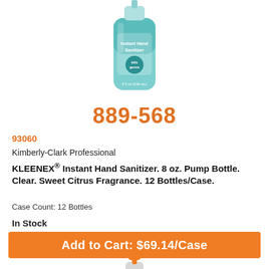[Figure (photo): Hand sanitizer pump bottle with teal/blue color, labeled Instant Hand Sanitizer, partially shown at top of page]
889-568
93060
Kimberly-Clark Professional
KLEENEX® Instant Hand Sanitizer. 8 oz. Pump Bottle. Clear. Sweet Citrus Fragrance. 12 Bottles/Case.
Case Count: 12 Bottles
In Stock
Add to Cart: $69.14/Case
[Figure (photo): Softsoap Antibacterial hand soap pump bottle with orange pump, partially shown at bottom of page]